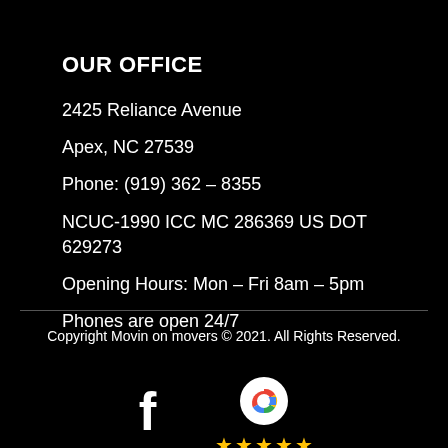OUR OFFICE
2425 Reliance Avenue
Apex, NC 27539
Phone: (919) 362 – 8355
NCUC-1990 ICC MC 286369 US DOT 629273
Opening Hours: Mon – Fri 8am – 5pm
Phones are open 24/7
Copyright Movin on movers © 2021. All Rights Reserved.
[Figure (logo): Facebook logo icon (white 'f' letter) and Google logo icon with five yellow stars below it]